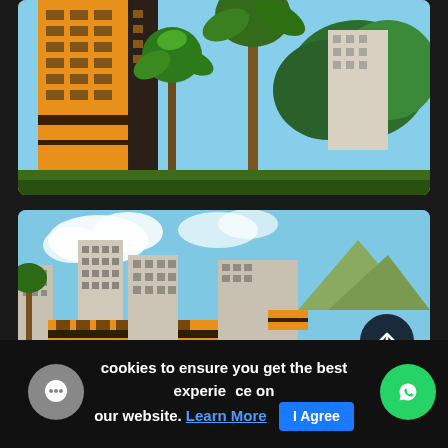[Figure (illustration): Rendered architectural image of a tall orange and dark-brown residential apartment building with palm trees in the foreground and green trees in the background, blue sky.]
[Figure (illustration): Rendered architectural image showing a row of mid-rise residential apartment buildings with orange and grey facades, set against blue sky with mountains in the background. A dark scroll-to-top arrow button is visible at the right.]
cookies to ensure you get the best experience on our website. Learn More | I Agree